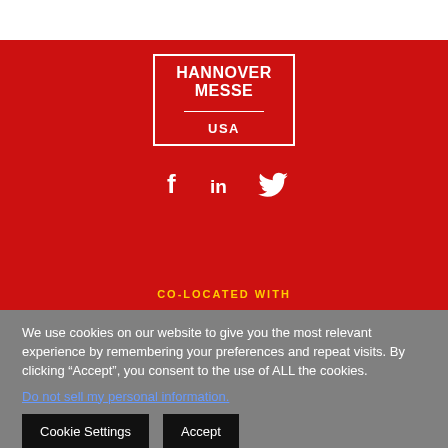[Figure (logo): Hannover Messe USA logo in white text inside a white-bordered box on red background]
[Figure (infographic): Social media icons: Facebook (f), LinkedIn (in), Twitter (bird) in white on red background]
CO-LOCATED WITH
We use cookies on our website to give you the most relevant experience by remembering your preferences and repeat visits. By clicking “Accept”, you consent to the use of ALL the cookies.
Do not sell my personal information.
Cookie Settings
Accept